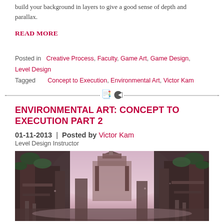build your background in layers to give a good sense of depth and parallax.
READ MORE
Posted in   Creative Process, Faculty, Game Art, Game Design, Level Design
Tagged       Concept to Execution, Environmental Art, Victor Kam
ENVIRONMENTAL ART: CONCEPT TO EXECUTION PART 2
01-11-2013  |  Posted by Victor Kam
Level Design Instructor
[Figure (photo): Environmental concept art showing ancient ruins with lush vegetation, towering stone structures, and a dramatic pink/purple sky. The scene depicts a fantasy game environment with architectural ruins on both sides and a central ornate temple-like structure in the background.]